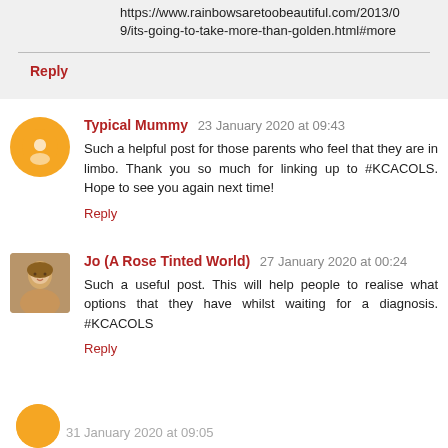https://www.rainbowsaretoobeautiful.com/2013/09/its-going-to-take-more-than-golden.html#more
Reply
Typical Mummy 23 January 2020 at 09:43
Such a helpful post for those parents who feel that they are in limbo. Thank you so much for linking up to #KCACOLS. Hope to see you again next time!
Reply
Jo (A Rose Tinted World) 27 January 2020 at 00:24
Such a useful post. This will help people to realise what options that they have whilst waiting for a diagnosis. #KCACOLS
Reply